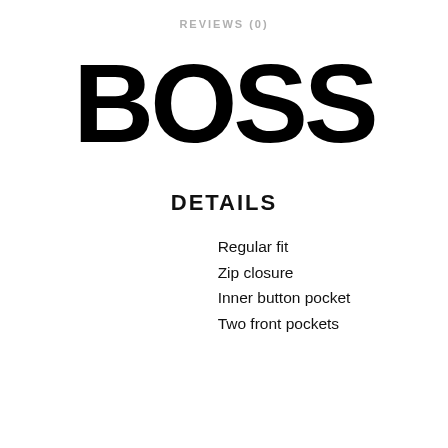REVIEWS (0)
[Figure (logo): BOSS brand logo in large bold black text]
DETAILS
Regular fit
Zip closure
Inner button pocket
Two front pockets